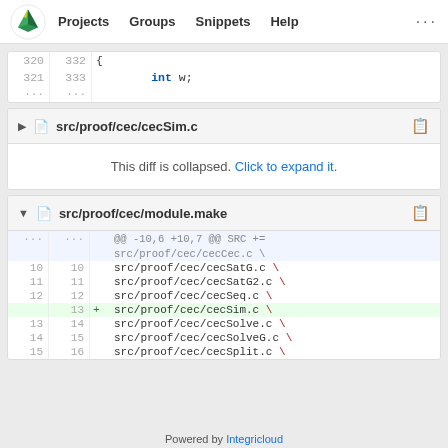[Figure (screenshot): GitLab navigation bar with logo, Projects, Groups, Snippets, Help links]
| old | new | code |
| --- | --- | --- |
| 320 | 332 | { |
| 321 | 333 |     int w; |
| ... | ... |  |
src/proof/cec/cecSim.c
This diff is collapsed. Click to expand it.
src/proof/cec/module.make
| old | new | op | code |
| --- | --- | --- | --- |
| ... | ... |  | @@ -10,6 +10,7 @@ SRC += src/proof/cec/cecCec.c \ |
| 10 | 10 |  | src/proof/cec/cecSatG.c \ |
| 11 | 11 |  | src/proof/cec/cecSatG2.c \ |
| 12 | 12 |  | src/proof/cec/cecSeq.c \ |
|  | 13 | + | src/proof/cec/cecSim.c \ |
| 13 | 14 |  | src/proof/cec/cecSolve.c \ |
| 14 | 15 |  | src/proof/cec/cecSolveG.c \ |
| 15 | 16 |  | src/proof/cec/cecSplit.c \ |
Powered by Integricloud